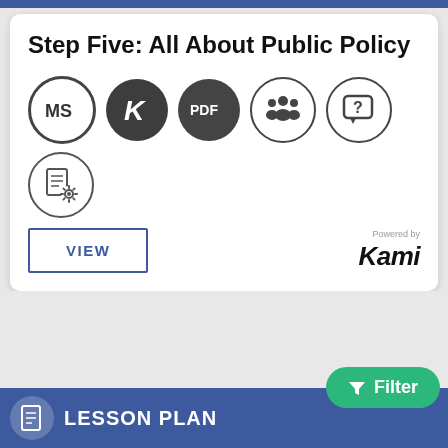Step Five: All About Public Policy
[Figure (illustration): Row of 5 circular icons: MS (outline circle), K (filled dark circle), PDF (filled dark circle), group of people (outline circle), speech bubble with question mark (outline circle). Below: one icon of a document with gear (outline circle).]
VIEW
Powered by Kami
Filter
LESSON PLAN